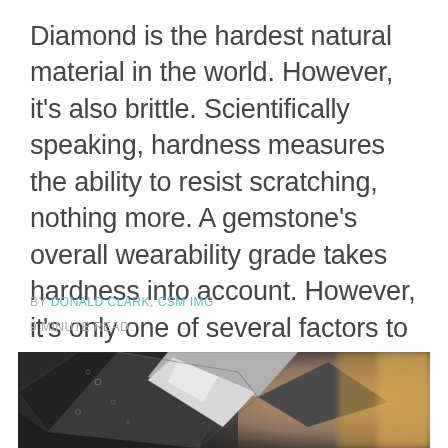Diamond is the hardest natural material in the world. However, it's also brittle. Scientifically speaking, hardness measures the ability to resist scratching, nothing more. A gemstone's overall wearability grade takes hardness into account. However, it's only one of several factors to consider.
BY DONALD CLARK, CSM IMG
9 MINUTE READ
[Figure (photo): Close-up macro photograph of a diamond gemstone showing facets, with dark metallic reflections and a warm blurred background]